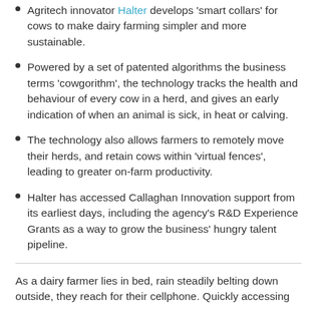Agritech innovator Halter develops 'smart collars' for cows to make dairy farming simpler and more sustainable.
Powered by a set of patented algorithms the business terms 'cowgorithm', the technology tracks the health and behaviour of every cow in a herd, and gives an early indication of when an animal is sick, in heat or calving.
The technology also allows farmers to remotely move their herds, and retain cows within 'virtual fences', leading to greater on-farm productivity.
Halter has accessed Callaghan Innovation support from its earliest days, including the agency's R&D Experience Grants as a way to grow the business' hungry talent pipeline.
As a dairy farmer lies in bed, rain steadily belting down outside, they reach for their cellphone. Quickly accessing